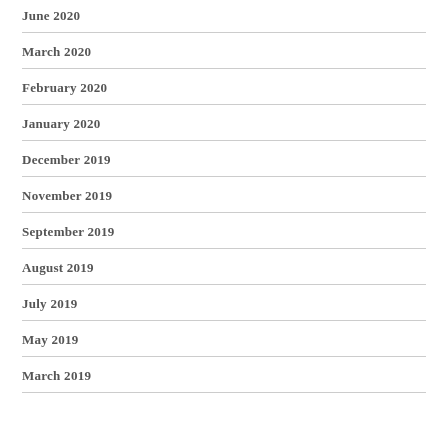June 2020
March 2020
February 2020
January 2020
December 2019
November 2019
September 2019
August 2019
July 2019
May 2019
March 2019